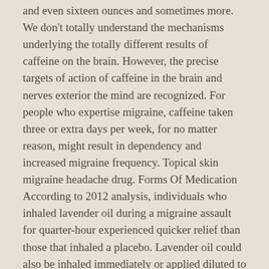and even sixteen ounces and sometimes more. We don't totally understand the mechanisms underlying the totally different results of caffeine on the brain. However, the precise targets of action of caffeine in the brain and nerves exterior the mind are recognized. For people who expertise migraine, caffeine taken three or extra days per week, for no matter reason, might result in dependency and increased migraine frequency. Topical skin migraine headache drug. Forms Of Medication According to 2012 analysis, individuals who inhaled lavender oil during a migraine assault for quarter-hour experienced quicker relief than those that inhaled a placebo. Lavender oil could also be inhaled immediately or applied diluted to the temples. Studies of caffeine dependency and tolerance show that every day caffeine users are literally more motivated to devour it to avoid withdrawal signs than to experience the raise that its stimulant properties might present.